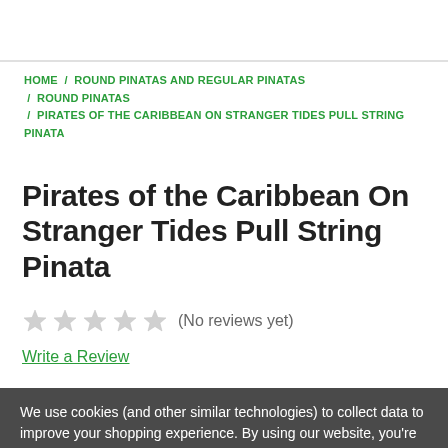HOME / ROUND PINATAS AND REGULAR PINATAS / ROUND PINATAS / PIRATES OF THE CARIBBEAN ON STRANGER TIDES PULL STRING PINATA
Pirates of the Caribbean On Stranger Tides Pull String Pinata
★★★★★ (No reviews yet)
Write a Review
We use cookies (and other similar technologies) to collect data to improve your shopping experience. By using our website, you're agreeing to the collection of data as described in our Privacy Policy.
Settings | Reject all | Accept All Cookies